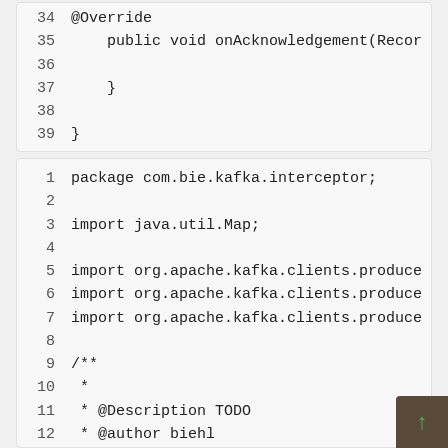34    @Override
35    public void onAcknowledgement(Recor
36
37        }
38
39 }
1 package com.bie.kafka.interceptor;
 2
 3 import java.util.Map;
 4
 5 import org.apache.kafka.clients.produce
 6 import org.apache.kafka.clients.produce
 7 import org.apache.kafka.clients.produce
 8
 9 /**
10  *
11  * @Description TODO
12  * @author biehl
13  * @Date 2019年5月18日，上午5:15:04